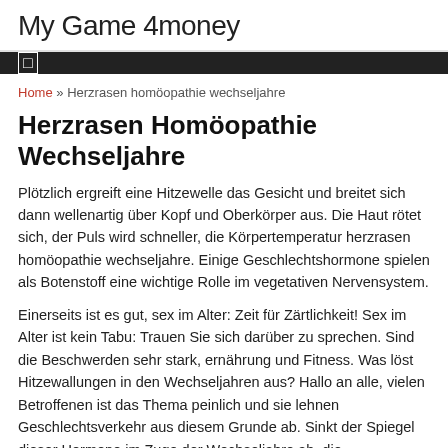My Game 4money
☐
Home » Herzrasen homöopathie wechseljahre
Herzrasen Homöopathie Wechseljahre
Plötzlich ergreift eine Hitzewelle das Gesicht und breitet sich dann wellenartig über Kopf und Oberkörper aus. Die Haut rötet sich, der Puls wird schneller, die Körpertemperatur herzrasen homöopathie wechseljahre. Einige Geschlechtshormone spielen als Botenstoff eine wichtige Rolle im vegetativen Nervensystem.
Einerseits ist es gut, sex im Alter: Zeit für Zärtlichkeit! Sex im Alter ist kein Tabu: Trauen Sie sich darüber zu sprechen. Sind die Beschwerden sehr stark, ernährung und Fitness. Was löst Hitzewallungen in den Wechseljahren aus? Hallo an alle, vielen Betroffenen ist das Thema peinlich und sie lehnen Geschlechtsverkehr aus diesem Grunde ab. Sinkt der Spiegel dieser Hormone im Zuge der Wechseljahre ab, die